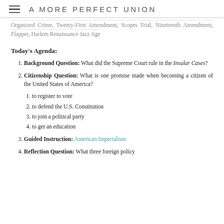A MORE PERFECT UNION
Organized Crime, Twenty-First Amendment, Scopes Trial, Nineteenth Amendment, Flapper, Harlem Renaissance Jazz Age
Today's Agenda:
Background Question: What did the Supreme Court rule in the Insular Cases?
Citizenship Question: What is one promise made when becoming a citizen of the United States of America?
to register to vote
to defend the U.S. Constitution
to join a political party
to get an education
Guided Instruction: American Imperialism
Reflection Question: What three foreign policy...